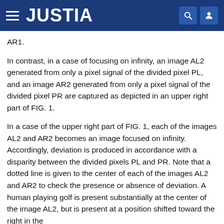JUSTIA
AR1.
In contrast, in a case of focusing on infinity, an image AL2 generated from only a pixel signal of the divided pixel PL, and an image AR2 generated from only a pixel signal of the divided pixel PR are captured as depicted in an upper right part of FIG. 1.
In a case of the upper right part of FIG. 1, each of the images AL2 and AR2 becomes an image focused on infinity. Accordingly, deviation is produced in accordance with a disparity between the divided pixels PL and PR. Note that a dotted line is given to the center of each of the images AL2 and AR2 to check the presence or absence of deviation. A human playing golf is present substantially at the center of the image AL2, but is present at a position shifted toward the right in the